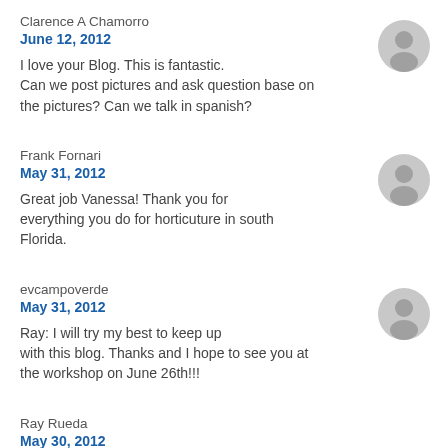Clarence A Chamorro
June 12, 2012
I love your Blog. This is fantastic. Can we post pictures and ask question base on the pictures? Can we talk in spanish?
[Figure (illustration): Generic user avatar icon (grey silhouette)]
Frank Fornari
May 31, 2012
Great job Vanessa! Thank you for everything you do for horticuture in south Florida.
[Figure (illustration): Generic user avatar icon (grey silhouette)]
evcampoverde
May 31, 2012
Ray: I will try my best to keep up with this blog. Thanks and I hope to see you at the workshop on June 26th!!!
[Figure (illustration): Generic user avatar icon (grey silhouette)]
Ray Rueda
May 30, 2012